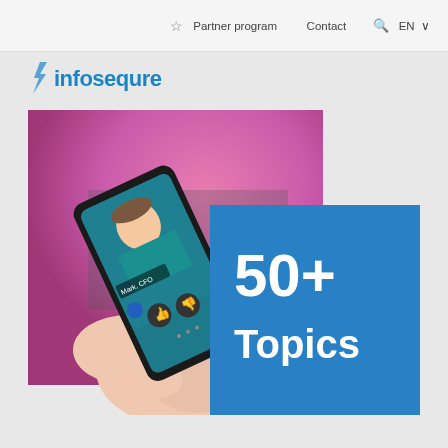Partner program   Contact   EN
[Figure (logo): Infosequre company logo in blue text]
[Figure (photo): Person holding a smartphone showing a video call interface with a man in a teal shirt labeled 'Mark, CFO', with thumbs up/down buttons visible. Background is pink/purple blur. An overlapping blue box on the right reads '50+ Topics'.]